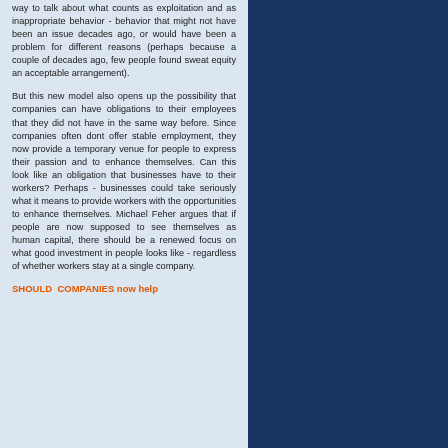way to talk about what counts as exploitation and as inappropriate behavior - behavior that might not have been an issue decades ago, or would have been a problem for different reasons (perhaps because a couple of decades ago, few people found sweat equity an acceptable arrangement).
But this new model also opens up the possibility that companies can have obligations to their employees that they did not have in the same way before. Since companies often dont offer stable employment, they now provide a temporary venue for people to express their passion and to enhance themselves. Can this look like an obligation that businesses have to their workers? Perhaps - businesses could take seriously what it means to provide workers with the opportunities to enhance themselves. Michael Feher argues that if people are now supposed to see themselves as human capital, there should be a renewed focus on what good investment in people looks like - regardless of whether workers stay at a single company.
SHOULD COMPANIES now help